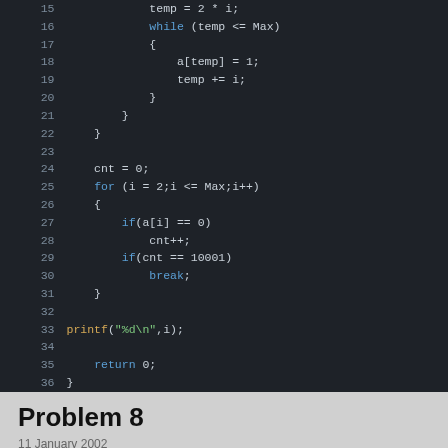[Figure (screenshot): Dark-themed code editor showing C code lines 15-36 with syntax highlighting. Keywords in blue/orange, string in green, plain code in light gray on dark background.]
Problem 8
11 January 2002
Find the greatest product of five consecutive digits in the 1000-digit number.
73167176531330624919225119674426574742355349194934
96983520312774506326239578318016984801869478851843